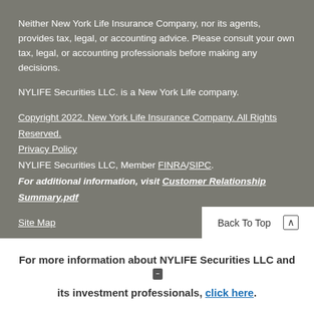Neither New York Life Insurance Company, nor its agents, provides tax, legal, or accounting advice. Please consult your own tax, legal, or accounting professionals before making any decisions.
NYLIFE Securities LLC. is a New York Life company.
Copyright 2022. New York Life Insurance Company. All Rights Reserved.
Privacy Policy
NYLIFE Securities LLC, Member FINRA/SIPC.
For additional information, visit Customer Relationship Summary.pdf
Site Map
Back To Top
For more information about NYLIFE Securities LLC and its investment professionals, click here.